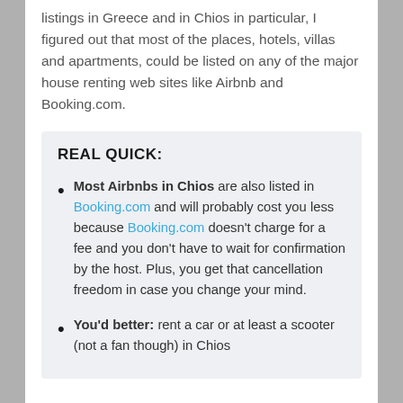listings in Greece and in Chios in particular, I figured out that most of the places, hotels, villas and apartments, could be listed on any of the major house renting web sites like Airbnb and Booking.com.
REAL QUICK:
Most Airbnbs in Chios are also listed in Booking.com and will probably cost you less because Booking.com doesn't charge for a fee and you don't have to wait for confirmation by the host. Plus, you get that cancellation freedom in case you change your mind.
You'd better: rent a car or at least a scooter (not a fan though) in Chios